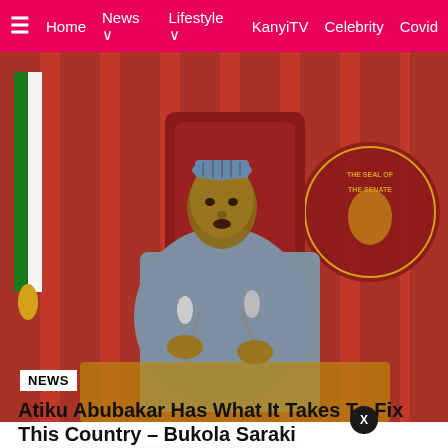Home  News  Lifestyle  KanyiTV  Celebrity  Covid
[Figure (photo): Nigerian politician in grey traditional attire and cap seated at desk with microphones, Nigerian flag visible on left, red official seal/flag on right, speaking at press conference]
NEWS
Atiku Abubakar Has What It Takes To Fix This Country – Bukola Saraki
[Figure (photo): Thumbnail of group of people standing together]
Peter Obi, Obasanjo, Wike, Ortom, Makinde, Ikpeazu,
12 hours ago
Shares